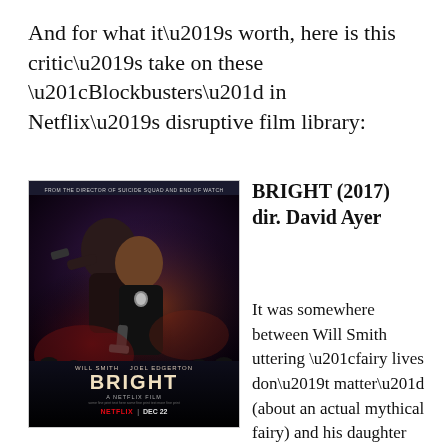And for what it’s worth, here is this critic’s take on these “Blockbusters” in Netflix’s disruptive film library:
[Figure (photo): Movie poster for Bright (2017), a Netflix film directed by David Ayer, starring Will Smith and Joel Edgerton. Dark background with two police officers. Netflix | Dec 22.]
BRIGHT (2017)
dir. David Ayer
It was somewhere between Will Smith uttering “fairy lives don’t matter” (about an actual mythical fairy) and his daughter